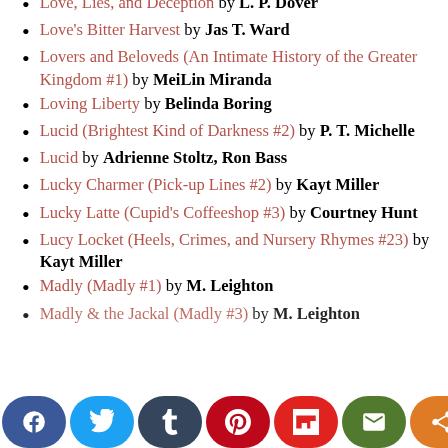Love, Lies, and Deception by L. P. Dover
Love's Bitter Harvest by Jas T. Ward
Lovers and Beloveds (An Intimate History of the Greater Kingdom #1) by MeiLin Miranda
Loving Liberty by Belinda Boring
Lucid (Brightest Kind of Darkness #2) by P. T. Michelle
Lucid by Adrienne Stoltz, Ron Bass
Lucky Charmer (Pick-up Lines #2) by Kayt Miller
Lucky Latte (Cupid's Coffeeshop #3) by Courtney Hunt
Lucy Locket (Heels, Crimes, and Nursery Rhymes #23) by Kayt Miller
Madly (Madly #1) by M. Leighton
Madly & the Jackal (Madly #3) by M. Leighton